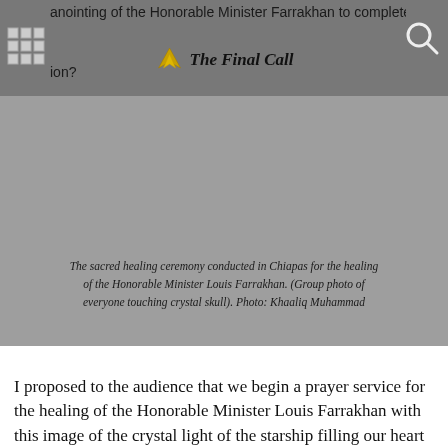anointing of the Honorable Minister Farrakhan to complete the global mission? — The Final Call
[Figure (photo): Gray/blank photo area where a group healing ceremony photo would appear, representing the sacred healing ceremony conducted in Chiapas.]
The sacred healing ceremony conducted in Chiapas for the healing of the Honorable Minister Louis Farrakhan. (Group photo of everyone touching crystal skull). Photo: Khaaliq Muhammad
I proposed to the audience that we begin a prayer service for the healing of the Honorable Minister Louis Farrakhan with this image of the crystal light of the starship filling our heart and our mind and our thoughts, crystallizing us into one thought and focus of healing of the